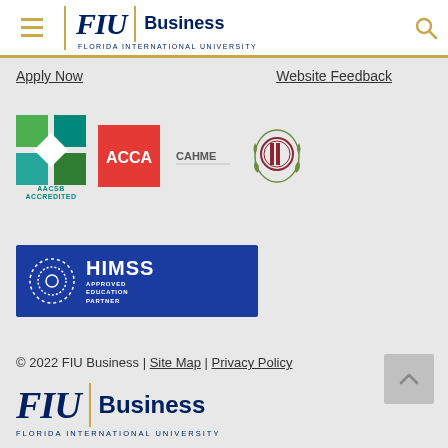FIU Business - Florida International University
Apply Now  |  Website Feedback
[Figure (logo): AACSB Accredited logo (green/teal square icon with white diamond cutout), ACCA logo (red square with white ACCA text), CAHME logo (text), IACBE logo (circular emblem with laurel wreath)]
[Figure (logo): HIMSS Approved Education Partner badge - blue rectangle with dotted circle icon and white text]
© 2022 FIU Business | Site Map | Privacy Policy
[Figure (logo): FIU Business - Florida International University bottom logo]